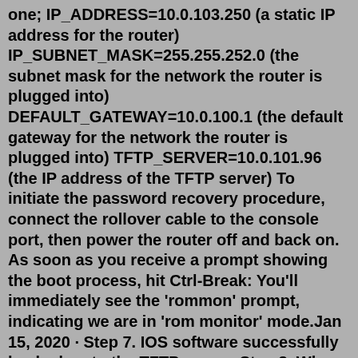one; IP_ADDRESS=10.0.103.250 (a static IP address for the router) IP_SUBNET_MASK=255.255.252.0 (the subnet mask for the network the router is plugged into) DEFAULT_GATEWAY=10.0.100.1 (the default gateway for the network the router is plugged into) TFTP_SERVER=10.0.101.96 (the IP address of the TFTP server) To initiate the password recovery procedure, connect the rollover cable to the console port, then power the router off and back on. As soon as you receive a prompt showing the boot process, hit Ctrl-Break: You'll immediately see the 'rommon' prompt, indicating we are in 'rom monitor' mode.Jan 15, 2020 · Step 7. IOS software successfully backed up to the TFTP server. Step 8. When you check the TFTP server in the Packet Tracer workspace, you can see the file you copied. Step 9. After this step, we will explore how to recover IOS through Rommon. First, to delete the IOS software from the Router, execute the delete flash: command and type in the ... Official cisco ROMMON download center The file will be named something like this: C1941-RM3-xxx-124...